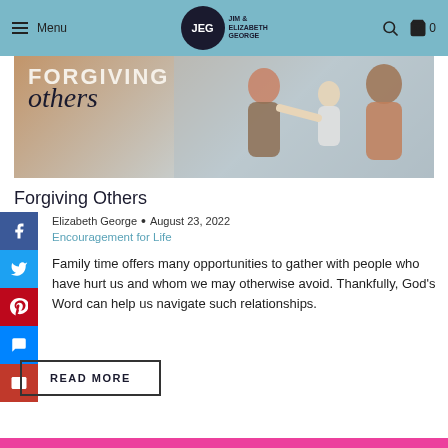Menu | JEG Jim & Elizabeth George | Search | Cart 0
[Figure (illustration): Book cover style hero image showing 'FORGIVING others' text overlaid on a photo of adults and a child hugging outdoors]
Forgiving Others
Elizabeth George • August 23, 2022
Encouragement for Life
Family time offers many opportunities to gather with people who have hurt us and whom we may otherwise avoid. Thankfully, God's Word can help us navigate such relationships.
READ MORE